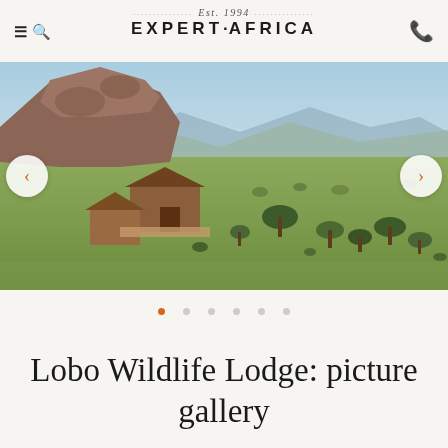Expert Africa — Est. 1994
[Figure (photo): Aerial panoramic view of Lobo Wildlife Lodge set among rocky outcrops and lush green savanna plains with mountains in the background, Tanzania.]
Lobo Wildlife Lodge: picture gallery